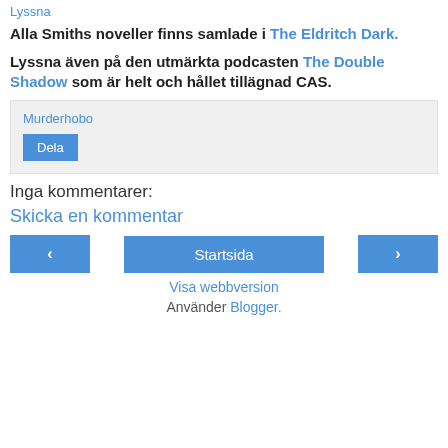Lyssna
Alla Smiths noveller finns samlade i The Eldritch Dark.
Lyssna även på den utmärkta podcasten The Double Shadow som är helt och hållet tillägnad CAS.
Murderhobo
Dela
Inga kommentarer:
Skicka en kommentar
‹
Startsida
›
Visa webbversion
Använder Blogger.